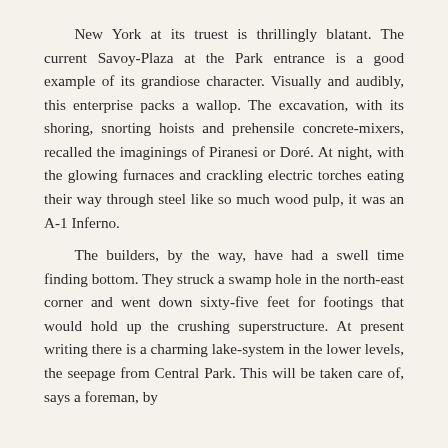New York at its truest is thrillingly blatant. The current Savoy-Plaza at the Park entrance is a good example of its grandiose character. Visually and audibly, this enterprise packs a wallop. The excavation, with its shoring, snorting hoists and prehensile concrete-mixers, recalled the imaginings of Piranesi or Doré. At night, with the glowing furnaces and crackling electric torches eating their way through steel like so much wood pulp, it was an A-1 Inferno.

The builders, by the way, have had a swell time finding bottom. They struck a swamp hole in the north-east corner and went down sixty-five feet for footings that would hold up the crushing superstructure. At present writing there is a charming lake-system in the lower levels, the seepage from Central Park. This will be taken care of, says a foreman, by